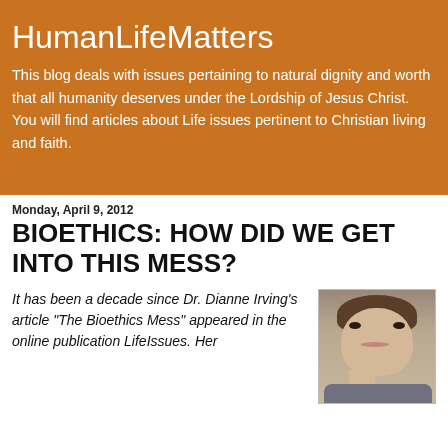HumanLifeMatters
This blog deals with issues pertaining to natural dignity and worth that all humanity deserves under the Lordship of Jesus Christ. You will find articles about Life issues pertinent to Christian living and faith.
Monday, April 9, 2012
BIOETHICS: HOW DID WE GET INTO THIS MESS?
It has been a decade since Dr. Dianne Irving's article "The Bioethics Mess" appeared in the online publication LifeIssues. Her
[Figure (photo): Portrait photo of a woman, likely Dr. Dianne Irving, with short brown hair]